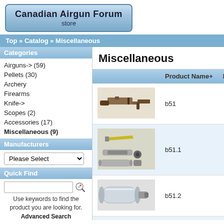[Figure (logo): Canadian Airgun Forum store logo with blue gradient rounded rectangle]
Top » Catalog » Miscellaneous
Categories
Airguns-> (59)
Pellets (30)
Archery
Firearms
Knife->
Scopes (2)
Accessories (17)
Miscellaneous (9)
Manufacturers
Please Select
Quick Find
Use keywords to find the product you are looking for.
Advanced Search
What's New?
Miscellaneous
|  | Product Name+ | Mode... |
| --- | --- | --- |
| [rifle image] | b51 |  |
| [parts image] | b51.1 |  |
| [cylinder image] | b51.2 |  |
| [partial image] |  |  |